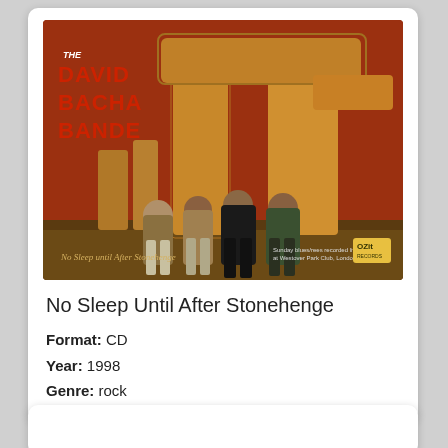[Figure (photo): Album cover for 'No Sleep Until After Stonehenge' by The David Bacha Bande. Shows four people standing in front of Stonehenge against a reddish background. Text on cover includes band name in large letters top left and handwritten-style subtitle at bottom.]
No Sleep Until After Stonehenge
Format: CD
Year: 1998
Genre: rock